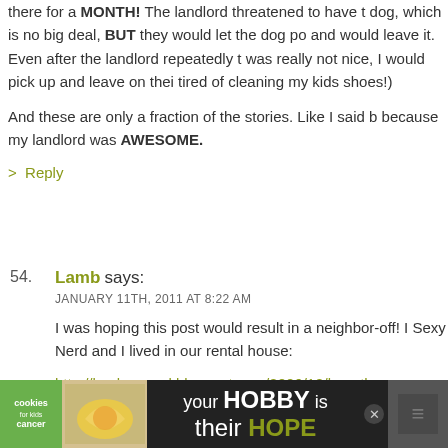there for a MONTH! The landlord threatened to have h dog, which is no big deal, BUT they would let the dog po and would leave it. Even after the landlord repeatedly t was really not nice, I would pick up and leave on thei tired of cleaning my kids shoes!)
And these are only a fraction of the stories. Like I said b because my landlord was AWESOME.
> Reply
54. Lamb says:
JANUARY 11TH, 2011 AT 8:22 AM
I was hoping this post would result in a neighbor-off! I Sexy Nerd and I lived in our rental house:
http://lambaround.blogspot.com/2006/12/love-thy-ne
I had a lot of material to use for the post. Here is a part up our neighbor from across the street pretty well:
This was not the only time that my odd neighbor used m Nerd took our trash to the curb a few weeks ago and ra
[Figure (screenshot): Advertisement banner at bottom: cookies for kids cancer logo, hands holding a heart cookie, text 'your HOBBY is their HOPE' with close buttons]